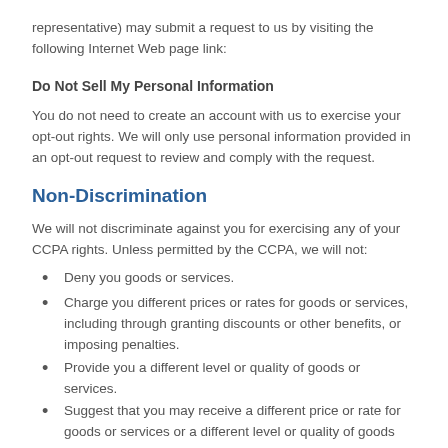representative) may submit a request to us by visiting the following Internet Web page link:
Do Not Sell My Personal Information
You do not need to create an account with us to exercise your opt-out rights. We will only use personal information provided in an opt-out request to review and comply with the request.
Non-Discrimination
We will not discriminate against you for exercising any of your CCPA rights. Unless permitted by the CCPA, we will not:
Deny you goods or services.
Charge you different prices or rates for goods or services, including through granting discounts or other benefits, or imposing penalties.
Provide you a different level or quality of goods or services.
Suggest that you may receive a different price or rate for goods or services or a different level or quality of goods